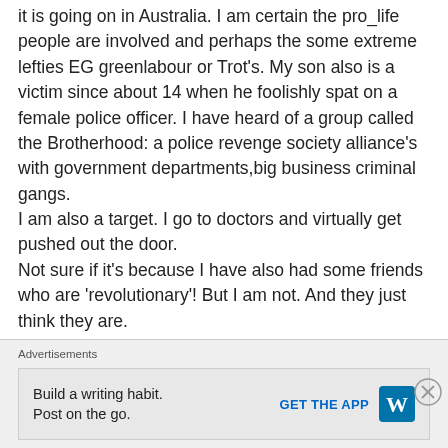it is going on in Australia. I am certain the pro_life people are involved and perhaps the some extreme lefties EG greenlabour or Trot's. My son also is a victim since about 14 when he foolishly spat on a female police officer. I have heard of a group called the Brotherhood: a police revenge society alliance's with government departments,big business criminal gangs.
I am also a target. I go to doctors and virtually get pushed out the door.
Not sure if it's because I have also had some friends who are 'revolutionary'! But I am not. And they just think they are.
I also think its weird how in South Australia we
Advertisements
Build a writing habit. Post on the go.
GET THE APP